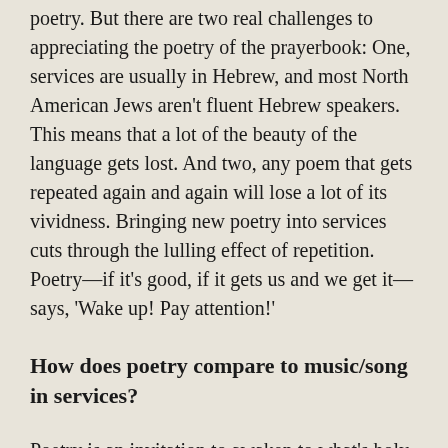poetry. But there are two real challenges to appreciating the poetry of the prayerbook: One, services are usually in Hebrew, and most North American Jews aren't fluent Hebrew speakers. This means that a lot of the beauty of the language gets lost. And two, any poem that gets repeated again and again will lose a lot of its vividness. Bringing new poetry into services cuts through the lulling effect of repetition. Poetry—if it's good, if it gets us and we get it—says, 'Wake up! Pay attention!'
How does poetry compare to music/song in services?
Poetry is an invitation to awaken to what's holy in the world and in ourselves. It's a chance to see things in a new light, or to feel seen. For these